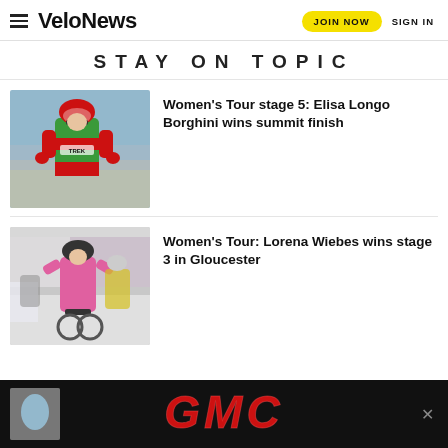VeloNews | JOIN NOW | SIGN IN
STAY ON TOPIC
[Figure (photo): Cyclist in green and red Trek jersey celebrating a win]
Women’s Tour stage 5: Elisa Longo Borghini wins summit finish
[Figure (photo): Cyclist in pink jersey crossing the finish line in a sprint]
Women’s Tour: Lorena Wiebes wins stage 3 in Gloucester
[Figure (photo): GMC advertisement banner]